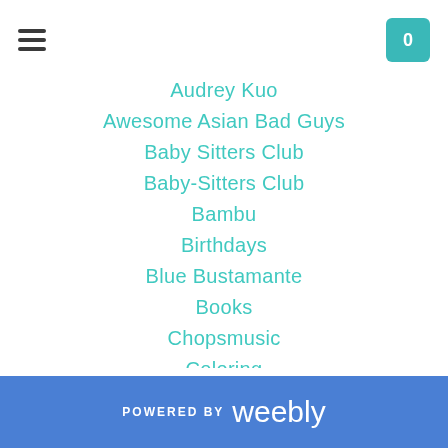Navigation header with hamburger menu and cart icon showing 0
Audrey Kuo
Awesome Asian Bad Guys
Baby Sitters Club
Baby-Sitters Club
Bambu
Birthdays
Blue Bustamante
Books
Chopsmusic
Coloring
Color Your Troubles Away
Comedy
Comedycomedyfest
David Bowie
Dc Confercation
Delano Manongs
Devotion
POWERED BY weebly